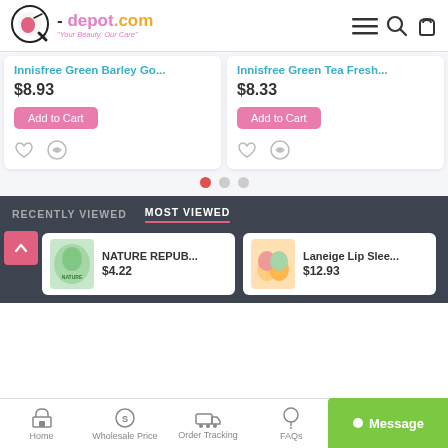[Figure (logo): k-depot.com logo with magnifying glass icon and tagline 'Your Beauty, Our Care']
Innisfree Green Barley Go...
$8.93
Add to Cart
Innisfree Green Tea Fresh...
$8.33
Add to Cart
RECENTLY VIEWED
MOST VIEWED
NATURE REPUB...
$4.22
Laneige Lip Slee...
$12.93
Home
Wholesale Price
Order Tracking
FAQs
Message